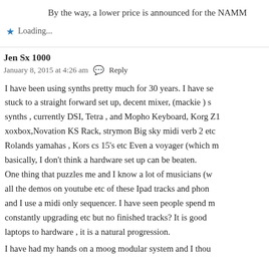By the way, a lower price is announced for the NAMM
Loading...
Jen Sx 1000
January 8, 2015 at 4:26 am  Reply
I have been using synths pretty much for 30 years. I have se stuck to a straight forward set up, decent mixer, (mackie ) s synths , currently DSI, Tetra , and Mopho Keyboard, Korg Z1 xoxbox,Novation KS Rack, strymon Big sky midi verb 2 etc Rolands yamahas , Kors cs 15's etc Even a voyager (which m basically, I don't think a hardware set up can be beaten. One thing that puzzles me and I know a lot of musicians (w all the demos on youtube etc of these Ipad tracks and phon and I use a midi only sequencer. I have seen people spend m constantly upgrading etc but no finished tracks? It is good laptops to hardware , it is a natural progression. I have had my hands on a moog modular system and I thou